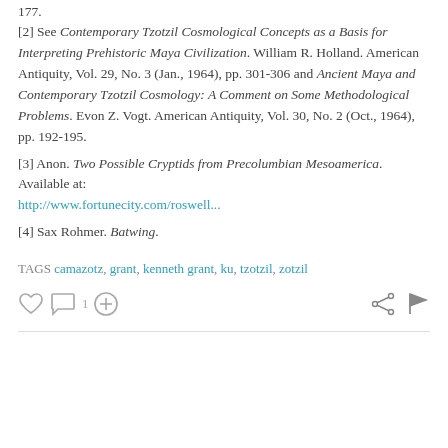177.
[2] See Contemporary Tzotzil Cosmological Concepts as a Basis for Interpreting Prehistoric Maya Civilization. William R. Holland. American Antiquity, Vol. 29, No. 3 (Jan., 1964), pp. 301-306 and Ancient Maya and Contemporary Tzotzil Cosmology: A Comment on Some Methodological Problems. Evon Z. Vogt. American Antiquity, Vol. 30, No. 2 (Oct., 1964), pp. 192-195.
[3] Anon. Two Possible Cryptids from Precolumbian Mesoamerica. Available at: http://www.fortunecity.com/roswell...
[4] Sax Rohmer. Batwing.
TAGS camazotz, grant, kenneth grant, ku, tzotzil, zotzil
[Figure (other): Social action icons: heart (like), speech bubble with 1 (comment), plus in circle (add), share icon, flag icon]